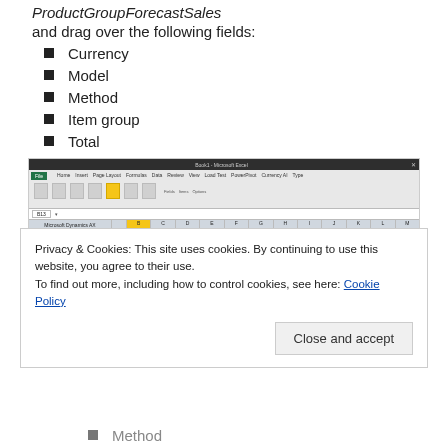ProductGroupForecastSales
and drag over the following fields:
Currency
Model
Method
Item group
Total
[Figure (screenshot): Screenshot of Microsoft Excel showing a pivot table field list with Currency, Model, Method, Item group, and Total fields dragged into columns area]
Privacy & Cookies: This site uses cookies. By continuing to use this website, you agree to their use.
To find out more, including how to control cookies, see here: Cookie Policy
Close and accept
Method